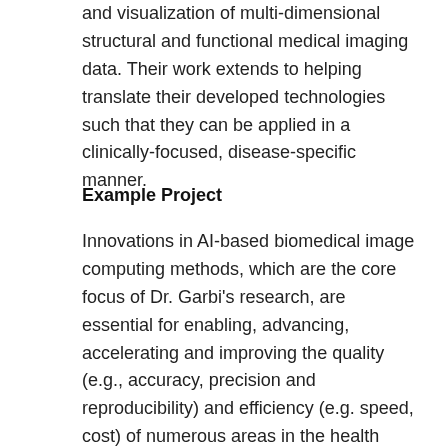and visualization of multi-dimensional structural and functional medical imaging data. Their work extends to helping translate their developed technologies such that they can be applied in a clinically-focused, disease-specific manner.
Example Project
Innovations in AI-based biomedical image computing methods, which are the core focus of Dr. Garbi's research, are essential for enabling, advancing, accelerating and improving the quality (e.g., accuracy, precision and reproducibility) and efficiency (e.g. speed, cost) of numerous areas in the health sciences field and healthcare sector. Dr. Garbi's research is relevant to heterogeneous data from different scales and modalities. Furthermore, her focus on embedding her projects within real life clinical applications (e.g. screening, diagnostics, prognostics, surgical intervention, the management (follow-up etc.)